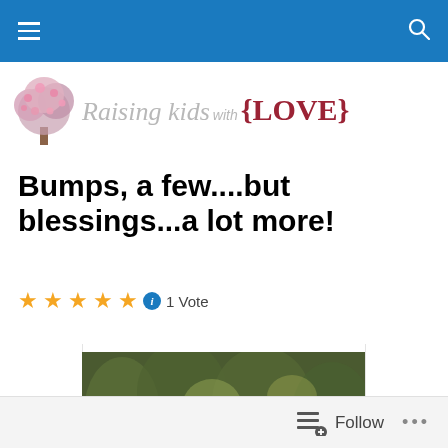Raising Kids with {LOVE} — navigation bar
[Figure (logo): Raising kids with {LOVE} blog logo with cherry blossom tree illustration on left, stylized text in gray and dark red]
Bumps, a few....but blessings...a lot more!
★★★★★ ℹ 1 Vote
[Figure (photo): Family portrait photo — group of five people wearing black, posed outdoors among autumn trees]
Follow ...